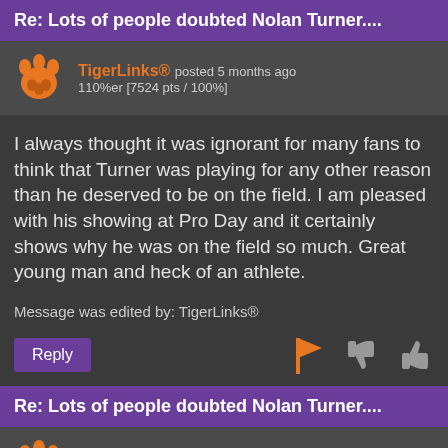Re: Lots of people doubted Nolan Turner....
TigerLinks® posted 5 months ago
110%er [7524 pts / 100%]
I always thought it was ignorant for many fans to think that Turner was playing for any other reason than he deserved to be on the field. I am pleased with his showing at Pro Day and it certainly shows why he was on the field so much. Great young man and heck of an athlete.
Message was edited by: TigerLinks®
Re: Lots of people doubted Nolan Turner....
tiger kid® posted 5 months ago